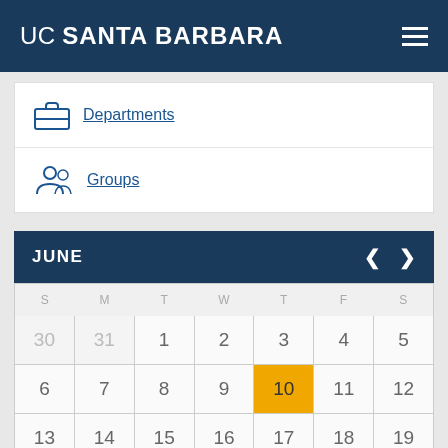UC SANTA BARBARA
Departments
Groups
JUNE
| S | M | T | W | T | F | S |
| --- | --- | --- | --- | --- | --- | --- |
| 30 | 31 | 1 | 2 | 3 | 4 | 5 |
| 6 | 7 | 8 | 9 | 10 | 11 | 12 |
| 13 | 14 | 15 | 16 | 17 | 18 | 19 |